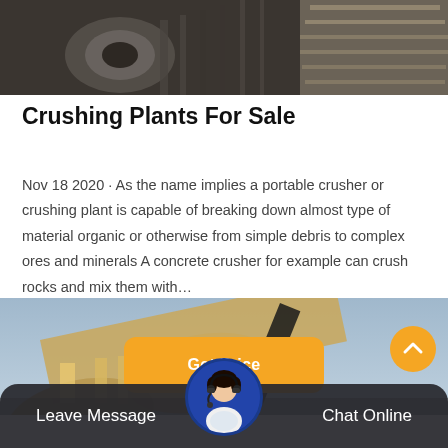[Figure (photo): Industrial machinery / crushing plant equipment viewed from below, dark tones]
Crushing Plants For Sale
Nov 18 2020 · As the name implies a portable crusher or crushing plant is capable of breaking down almost type of material organic or otherwise from simple debris to complex ores and minerals A concrete crusher for example can crush rocks and mix them with…
[Figure (photo): Industrial equipment with large cylindrical tubes and blue sky background]
Leave Message
Chat Online